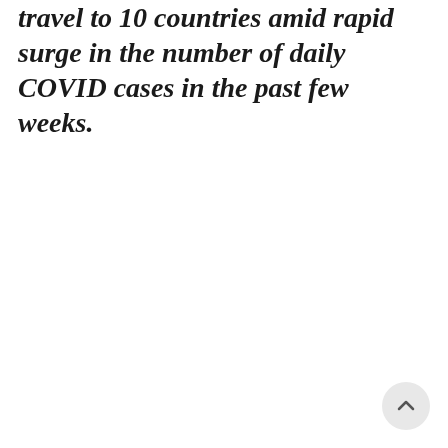travel to 10 countries amid rapid surge in the number of daily COVID cases in the past few weeks.